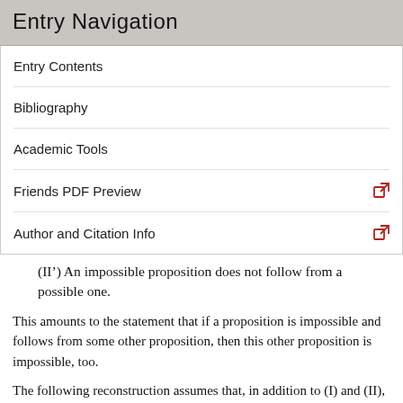Entry Navigation
Entry Contents
Bibliography
Academic Tools
Friends PDF Preview
Author and Citation Info
(II’) An impossible proposition does not follow from a possible one.
This amounts to the statement that if a proposition is impossible and follows from some other proposition, then this other proposition is impossible, too.
The following reconstruction assumes that, in addition to (I) and (II), the argument rests on a couple of further principles, which might have been generally taken to be valid and thus not worth mentioning, or else which might have been generally accepted by the Stoics and for this